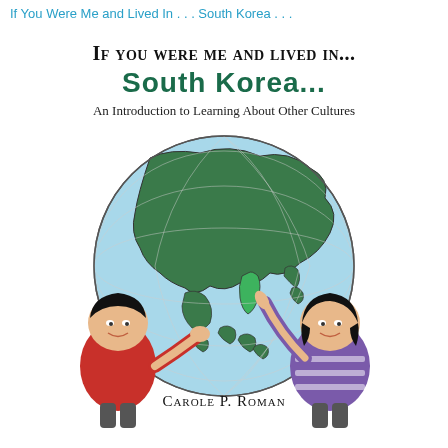If You Were Me and Lived In . . . South Korea . . .
If You Were Me and Lived In... South Korea... An Introduction to Learning About Other Cultures
[Figure (illustration): Two cartoon children holding up a globe showing Asia, with South Korea highlighted. One child on the left wears a red shirt, one on the right wears a purple striped shirt and points at the globe.]
Carole P. Roman